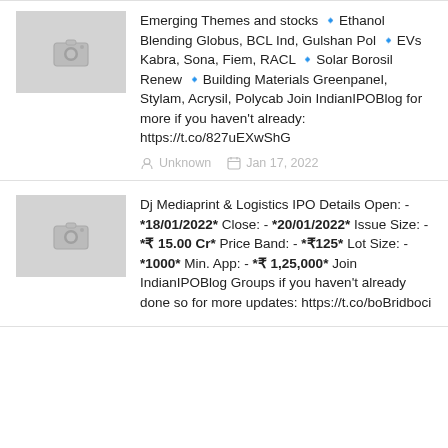[Figure (photo): Grey placeholder thumbnail with camera icon]
Emerging Themes and stocks 🔹Ethanol Blending Globus, BCL Ind, Gulshan Pol 🔹EVs Kabra, Sona, Fiem, RACL 🔹Solar Borosil Renew 🔹Building Materials Greenpanel, Stylam, Acrysil, Polycab Join IndianIPOBlog for more if you haven't already: https://t.co/827uEXwShG
Unknown   Jan 17, 2022
[Figure (photo): Grey placeholder thumbnail with camera icon]
Dj Mediaprint & Logistics IPO Details Open: - *18/01/2022* Close: - *20/01/2022* Issue Size: - *₹ 15.00 Cr* Price Band: - *₹125* Lot Size: - *1000* Min. App: - *₹ 1,25,000* Join IndianIPOBlog Groups if you haven't already done so for more updates: https://t.co/boBridboci